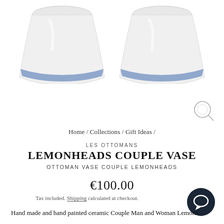[Figure (photo): Two white ceramic vases with blue bands at the base, photographed from above showing their tops, side by side on white background]
[Figure (illustration): Magnifying glass / zoom icon circle in top right area]
Home / Collections / Gift Ideas /
LES OTTOMANS
LEMONHEADS COUPLE VASE
OTTOMAN VASE COUPLE LEMONHEADS
€100.00
Tax included. Shipping calculated at checkout.
[Figure (illustration): Dark navy chat/messenger button circle in bottom right]
Hand made and hand painted ceramic Couple Man and Woman Lemons.